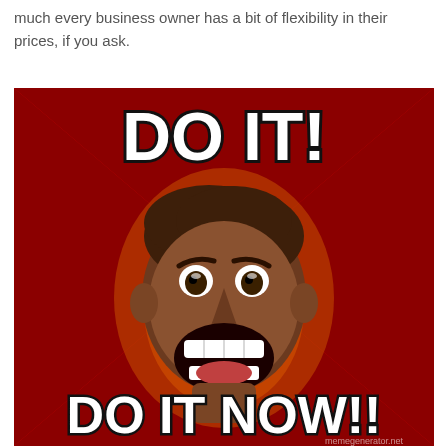much every business owner has a bit of flexibility in their prices, if you ask.
[Figure (illustration): A motivational meme with a red background featuring an X pattern of darker red triangles, a screaming man's face in the center, and bold white text reading 'DO IT!' at the top and 'DO IT NOW!!' at the bottom.]